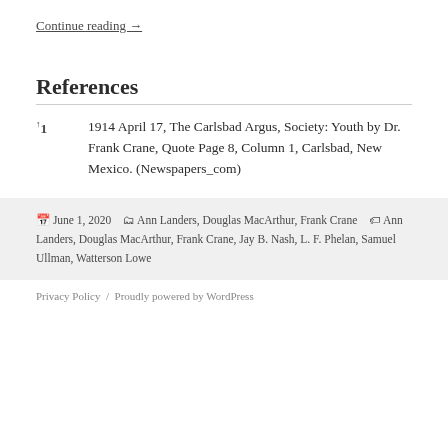Continue reading →
References
↑1   1914 April 17, The Carlsbad Argus, Society: Youth by Dr. Frank Crane, Quote Page 8, Column 1, Carlsbad, New Mexico. (Newspapers_com)
June 1, 2020   Ann Landers, Douglas MacArthur, Frank Crane   Ann Landers, Douglas MacArthur, Frank Crane, Jay B. Nash, L. F. Phelan, Samuel Ullman, Watterson Lowe
Privacy Policy / Proudly powered by WordPress